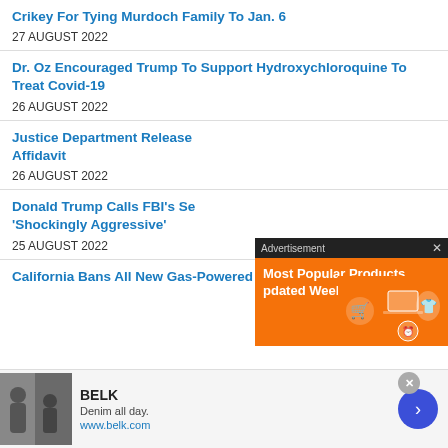Crikey For Tying Murdoch Family To Jan. 6
27 AUGUST 2022
Dr. Oz Encouraged Trump To Support Hydroxychloroquine To Treat Covid-19
26 AUGUST 2022
Justice Department Release Affidavit
26 AUGUST 2022
Donald Trump Calls FBI's Se 'Shockingly Aggressive'
25 AUGUST 2022
California Bans All New Gas-Powered Cars After
[Figure (infographic): Advertisement popup overlay with orange background showing 'Most Popular Products Updated Weekly!' with shopping icons]
[Figure (infographic): Bottom banner ad for BELK showing 'Denim all day. www.belk.com' with a photo of women in denim and a blue arrow button]